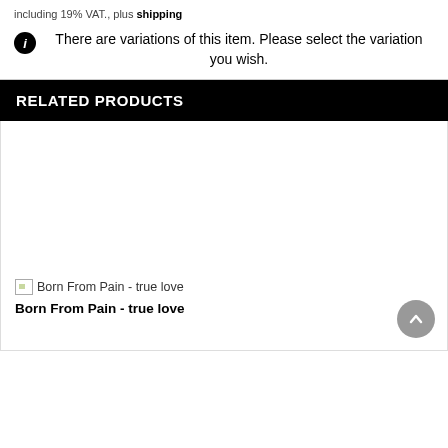including 19% VAT., plus shipping
There are variations of this item. Please select the variation you wish.
RELATED PRODUCTS
[Figure (photo): Broken image placeholder labeled 'Born From Pain - true love']
Born From Pain - true love